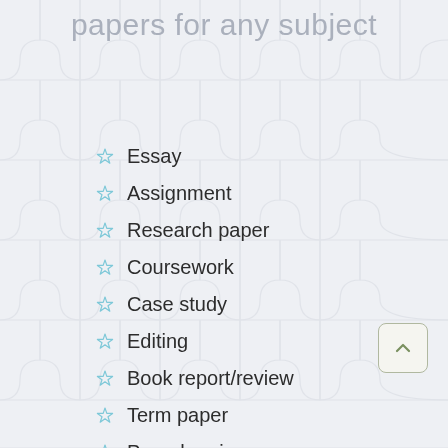papers for any subject
Essay
Assignment
Research paper
Coursework
Case study
Editing
Book report/review
Term paper
Paraphrasing